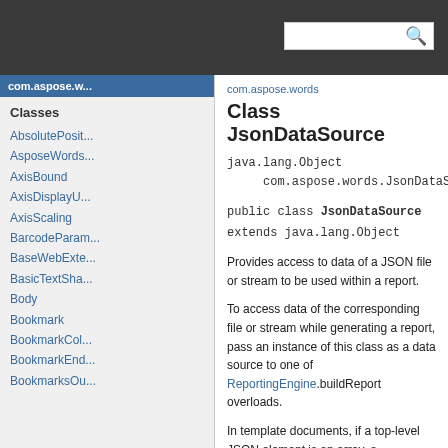com.aspose.words
Class JsonDataSource
java.lang.Object
    com.aspose.words.JsonDataSource
public class JsonDataSource extends java.lang.Object
Provides access to data of a JSON file or stream to be used within a report.
To access data of the corresponding file or stream while generating a report, pass an instance of this class as a data source to one of ReportingEngine.buildReport overloads.
In template documents, if a top-level JSON element is an array, a JsonDataSource instance should be treated in the same way as if it was a
Classes
AbsolutePosit...
AsposeWords...
AxisBound
AxisDisplayU...
AxisScaling
BarcodeParam...
BaseWebExte...
BasicTextSha...
Body
Bookmark
BookmarkCol...
BookmarkEnd...
BookmarksOu...